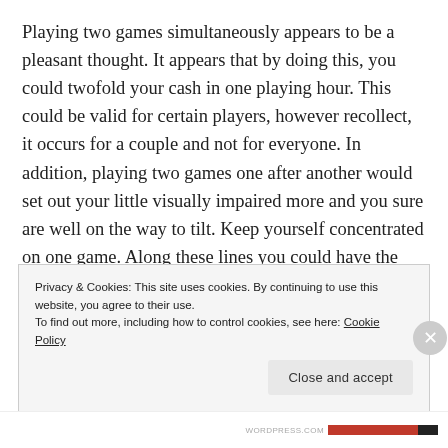Playing two games simultaneously appears to be a pleasant thought. It appears that by doing this, you could twofold your cash in one playing hour. This could be valid for certain players, however recollect, it occurs for a couple and not for everyone. In addition, playing two games one after another would set out your little visually impaired more and you sure are well on the way to tilt. Keep yourself concentrated on one game. Along these lines you could have the advantage particularly in case you're playing a noteworthy, drawn-out pot. Playing each game in turn likewise causes you play clearly with just a single adversary to focus on.
Privacy & Cookies: This site uses cookies. By continuing to use this website, you agree to their use. To find out more, including how to control cookies, see here: Cookie Policy
Close and accept